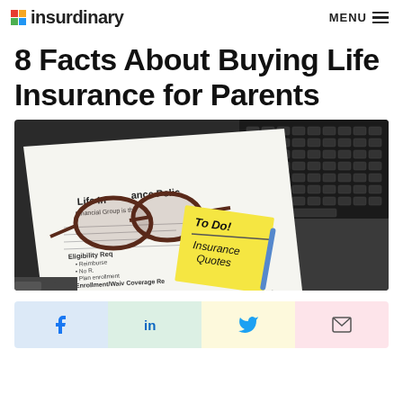insurdinary  MENU
8 Facts About Buying Life Insurance for Parents
[Figure (photo): A life insurance policy document with glasses resting on top, a yellow sticky note reading 'To Do! Insurance Quotes', a pen, and a laptop keyboard in the background.]
[Figure (infographic): Social sharing buttons: Facebook (blue background), LinkedIn (green background), Twitter (yellow background), Email (pink background).]